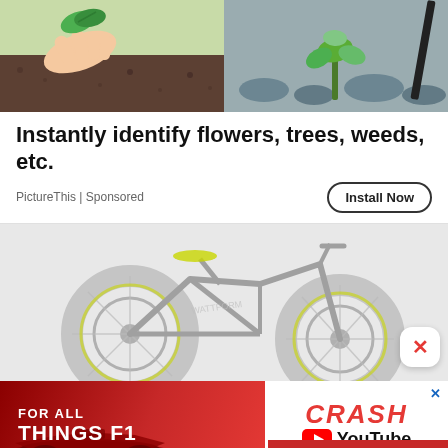[Figure (photo): Top banner showing two photos side by side: left photo shows a hand holding green leaves over soil/mulch, right photo shows green plants growing in rocky soil]
Instantly identify flowers, trees, weeds, etc.
PictureThis | Sponsored
Install Now
[Figure (photo): Advertisement image of a fat-tire mountain/electric bike in light gray tones with yellow-green accents, with a white close (X) button in the lower right corner]
[Figure (screenshot): Red and white advertisement banner: left red side reads FOR ALL THINGS F1 with F1 racing car silhouette, right white side shows CRASH in red italic text with YouTube logo and label]
Privacy Manager